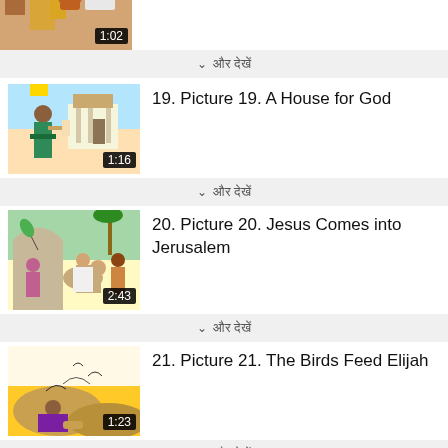[Figure (screenshot): Partial top thumbnail of video 18 - David and Bathsheba, showing a woman with yellow dress and blue pot, duration 1:02]
▾ और देखें
[Figure (screenshot): Thumbnail for video 19 - A House for God, showing a king figure and temple building, duration 1:16]
19. Picture 19. A House for God
▾ और देखें
[Figure (screenshot): Thumbnail for video 20 - Jesus Comes into Jerusalem, showing Jesus riding a donkey with people celebrating, duration 2:43]
20. Picture 20. Jesus Comes into Jerusalem
▾ और देखें
[Figure (screenshot): Thumbnail for video 21 - The Birds Feed Elijah, showing Elijah kneeling with birds flying above on desert background, duration 1:23]
21. Picture 21. The Birds Feed Elijah
▾ और देखें
[Figure (screenshot): Partial thumbnail for video 22 - Elijah and the Fire of God, showing people gathered around fire on yellow background]
22. Picture 22. Elijah and the Fire of God